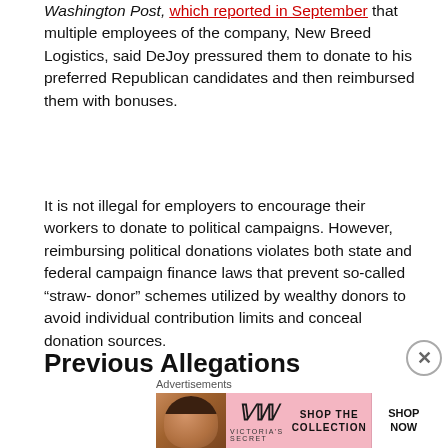Washington Post, which reported in September that multiple employees of the company, New Breed Logistics, said DeJoy pressured them to donate to his preferred Republican candidates and then reimbursed them with bonuses.
It is not illegal for employers to encourage their workers to donate to political campaigns. However, reimbursing political donations violates both state and federal campaign finance laws that prevent so-called “straw-donor” schemes utilized by wealthy donors to avoid individual contribution limits and conceal donation sources.
Previous Allegations
Advertisements
[Figure (other): Victoria's Secret advertisement banner with a model, VS logo, 'SHOP THE COLLECTION' text, and a 'SHOP NOW' button on white background.]